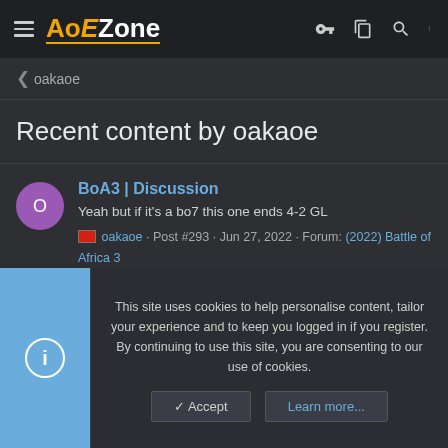AoEZone
oakaoe
Recent content by oakaoe
BoA3 | Discussion
Yeah but if it's a bo7 this one ends 4-2 GL
oakaoe · Post #293 · Jun 27, 2022 · Forum: (2022) Battle of Africa 3
BoA3 | Discussion
This site uses cookies to help personalise content, tailor your experience and to keep you logged in if you register. By continuing to use this site, you are consenting to our use of cookies.